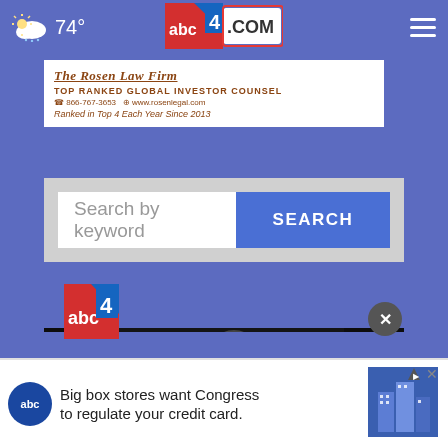74° — abc4.com navigation header
[Figure (logo): abc4.com logo in red, white and blue with number 4]
[Figure (infographic): The Rosen Law Firm advertisement - Top Ranked Global Investor Counsel, 866-767-3653, www.rosenlegal.com, Ranked in Top 4 Each Year Since 2013]
Search by keyword
[Figure (photo): Black and white photo of adult and child in close conversation]
[Figure (logo): Partial abc4 logo at bottom]
Big box stores want Congress to regulate your credit card.